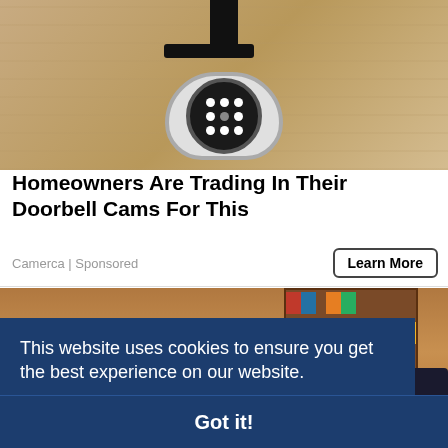[Figure (photo): Security camera mounted on a textured stone/concrete wall with LED ring lights]
Homeowners Are Trading In Their Doorbell Cams For This
Camerca | Sponsored
Learn More
[Figure (photo): Person seated at desk in a room with bookshelves, partially obscured by cookie consent banner]
This website uses cookies to ensure you get the best experience on our website. Learn more
Got it!